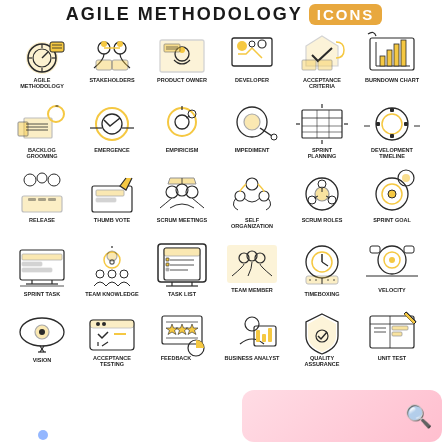AGILE METHODOLOGY ICONS
[Figure (infographic): Grid of 30 Agile Methodology flat line icons with golden/amber and dark outline style, each labeled below. Icons include: Agile Methodology, Stakeholders, Product Owner, Developer, Acceptance Criteria, Burndown Chart, Backlog Grooming, Emergence, Empiricism, Impediment, Sprint Planning, Development Timeline, Release, Thumb Vote, Scrum Meetings, Self Organization, Scrum Roles, Sprint Goal, Sprint Task, Team Knowledge, Task List, Team Member, Timeboxing, Velocity, Vision, Acceptance Testing, Feedback, Business Analyst, Quality Assurance, Unit Test.]